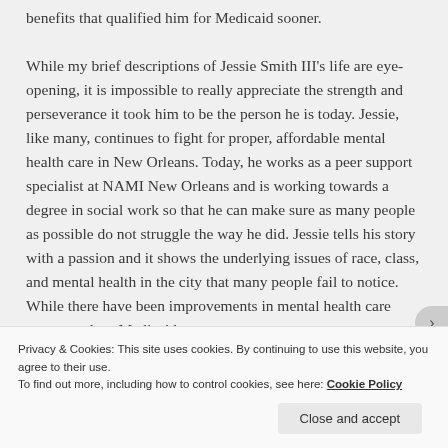benefits that qualified him for Medicaid sooner.
While my brief descriptions of Jessie Smith III's life are eye-opening, it is impossible to really appreciate the strength and perseverance it took him to be the person he is today. Jessie, like many, continues to fight for proper, affordable mental health care in New Orleans. Today, he works as a peer support specialist at NAMI New Orleans and is working towards a degree in social work so that he can make sure as many people as possible do not struggle the way he did. Jessie tells his story with a passion and it shows the underlying issues of race, class, and mental health in the city that many people fail to notice. While there have been improvements in mental health care access such as Medicaid
Privacy & Cookies: This site uses cookies. By continuing to use this website, you agree to their use.
To find out more, including how to control cookies, see here: Cookie Policy